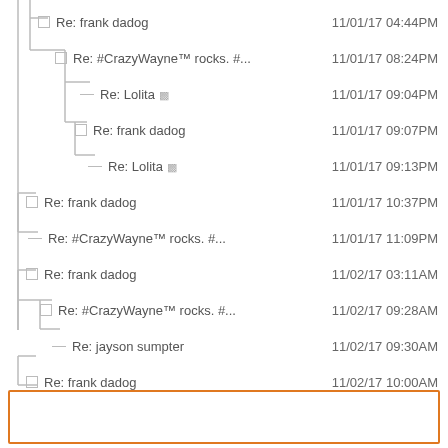Re: frank dadog  11/01/17 04:44PM
Re: #CrazyWayne™ rocks. #...  11/01/17 08:24PM
Re: Lolita  11/01/17 09:04PM
Re: frank dadog  11/01/17 09:07PM
Re: Lolita  11/01/17 09:13PM
Re: frank dadog  11/01/17 10:37PM
Re: #CrazyWayne™ rocks. #...  11/01/17 11:09PM
Re: frank dadog  11/02/17 03:11AM
Re: #CrazyWayne™ rocks. #...  11/02/17 09:28AM
Re: jayson sumpter  11/02/17 09:30AM
Re: frank dadog  11/02/17 10:00AM
Re: #CrazyWayne™ rocks. #...  11/02/17 10:08AM
[Figure (other): Orange bordered box at bottom of page]